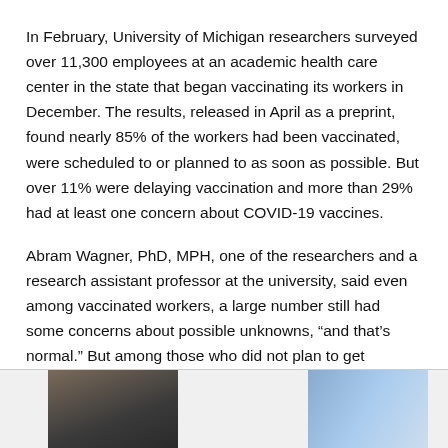In February, University of Michigan researchers surveyed over 11,300 employees at an academic health care center in the state that began vaccinating its workers in December. The results, released in April as a preprint, found nearly 85% of the workers had been vaccinated, were scheduled to or planned to as soon as possible. But over 11% were delaying vaccination and more than 29% had at least one concern about COVID-19 vaccines.
Abram Wagner, PhD, MPH, one of the researchers and a research assistant professor at the university, said even among vaccinated workers, a large number still had some concerns about possible unknowns, “and that’s normal.” But among those who did not plan to get vaccinated, a major issue was distrust in the agencies and companies involved in the vaccines’ development, which he said is much harder to address.
[Figure (photo): Two partial photos at the bottom of the page: a person's face on the left and a blue/sky image on the right]